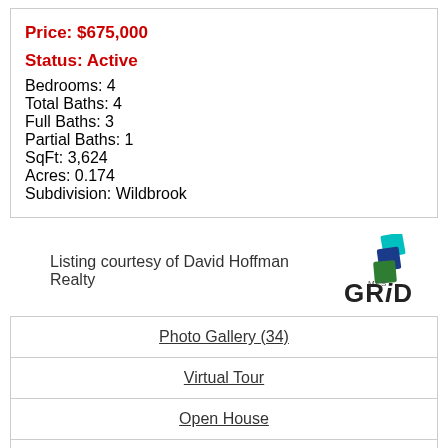Price: $675,000
Status: Active
Bedrooms:  4
Total Baths:  4
Full Baths:  3
Partial Baths:  1
SqFt:  3,624
Acres:  0.174
Subdivision:  Wildbrook
Listing courtesy of David Hoffman Realty
[Figure (logo): MLS GRID logo with teal/blue/green stacked squares and bold 'GRiD' text]
Photo Gallery (34)
Virtual Tour
Open House
Add to Favorites